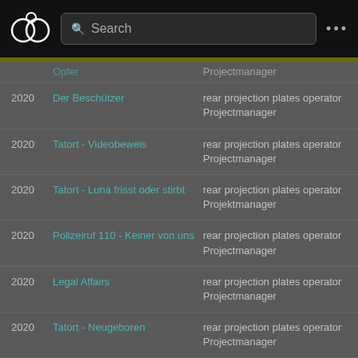[Figure (screenshot): App top navigation bar with logo (overlapping circles icon), search box, and three-dot menu]
| Year | Title | Role |
| --- | --- | --- |
|  | Opfer (partial) | Projectmanager (partial) |
| 2020 | Der Beschützer | rear projection plates operator
Projectmanager |
| 2020 | Tatort - Videobeweis | rear projection plates operator
Projectmanager |
| 2020 | Tatort - Luna frisst oder stirbt | rear projection plates operator
Projektmanager |
| 2020 | Polizeiruf 110 - Keiner von uns | rear projection plates operator
Projectmanager |
| 2020 | Legal Affairs | rear projection plates operator
Projectmanager |
| 2020 | Tatort - Neugeboren | rear projection plates operator
Projectmanager |
| 2020 | Tatort - Murot und das Prinzip Hoffnung | rear projection plates operator
Projectmanager |
| 2020 | Die Luft zum Atmen | rear projection plates operator
Projectmanager |